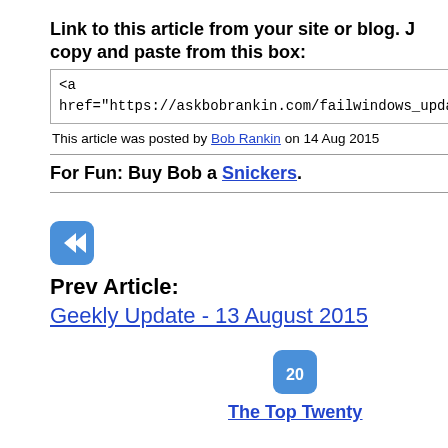Link to this article from your site or blog. J copy and paste from this box:
<a href="https://askbobrankin.com/fail windows_updates_causing_slowdowns.ht
This article was posted by Bob Rankin on 14 Aug 2015
For Fun: Buy Bob a Snickers.
[Figure (illustration): Blue rewind/back arrow icon button]
Prev Article: Geekly Update - 13 August 2015
[Figure (illustration): Blue icon with '20' text]
The Top Twenty